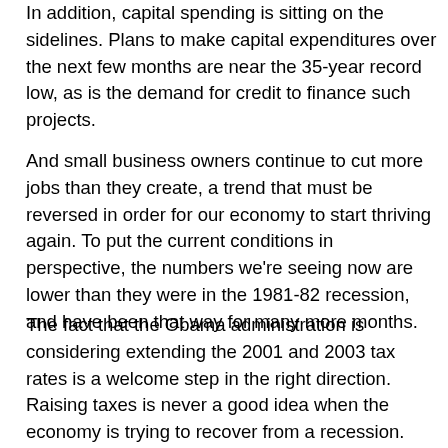In addition, capital spending is sitting on the sidelines. Plans to make capital expenditures over the next few months are near the 35-year record low, as is the demand for credit to finance such projects.
And small business owners continue to cut more jobs than they create, a trend that must be reversed in order for our economy to start thriving again. To put the current conditions in perspective, the numbers we're seeing now are lower than they were in the 1981-82 recession, and have been that way for many more months.
The fact that the Obama administration is considering extending the 2001 and 2003 tax rates is a welcome step in the right direction. Raising taxes is never a good idea when the economy is trying to recover from a recession. Furthermore, the vast majority of small business owners pay their taxes at the individual level so allowing the 2001 and